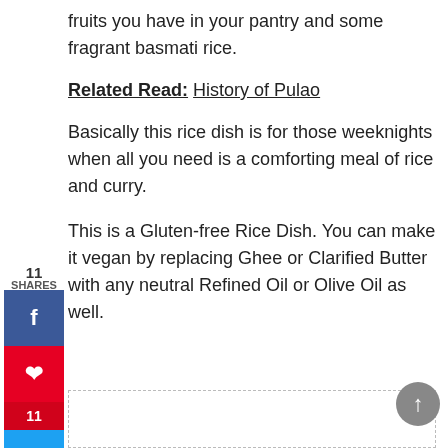fruits you have in your pantry and some fragrant basmati rice.
Related Read: History of Pulao
Basically this rice dish is for those weeknights when all you need is a comforting meal of rice and curry.
This is a Gluten-free Rice Dish. You can make it vegan by replacing Ghee or Clarified Butter with any neutral Refined Oil or Olive Oil as well.
[Figure (other): Social sharing sidebar with Facebook, Pinterest (11), and Twitter buttons; share count 11 SHARES shown above buttons]